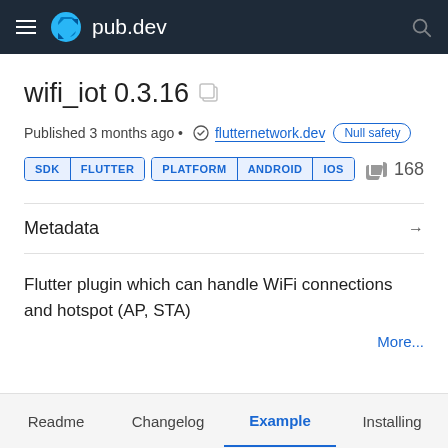pub.dev
wifi_iot 0.3.16
Published 3 months ago • flutternetwork.dev Null safety
SDK FLUTTER   PLATFORM ANDROID IOS   168 likes
Metadata
Flutter plugin which can handle WiFi connections and hotspot (AP, STA)
More...
Readme   Changelog   Example   Installing